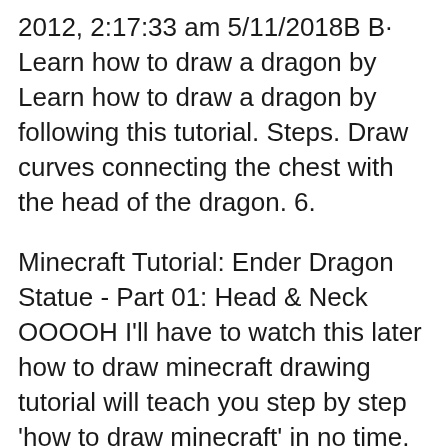2012, 2:17:33 am 5/11/2018B B· Learn how to draw a dragon by Learn how to draw a dragon by following this tutorial. Steps. Draw curves connecting the chest with the head of the dragon. 6.
Minecraft Tutorial: Ender Dragon Statue - Part 01: Head & Neck OOOOH I'll have to watch this later how to draw minecraft drawing tutorial will teach you step by step 'how to draw minecraft' in no time. How to Draw Ender Dragon . Draw Horse Heads and Faces.
how to draw minecraft drawing tutorial will teach you step by step 'how to draw minecraft' in no time. How to Draw Ender Dragon . Draw Horse Heads and